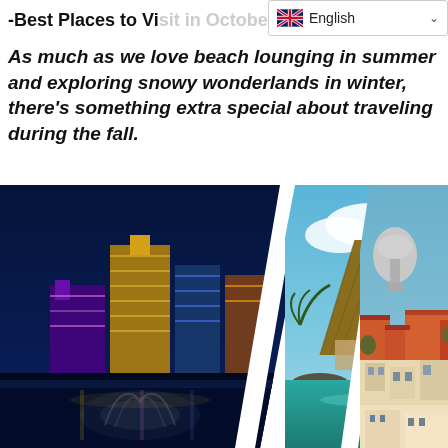English
-Best Places to Visit in October
As much as we love beach lounging in summer and exploring snowy wonderlands in winter, there's something extra special about traveling during the fall.
[Figure (photo): Three travel destination photos side by side at an angle: left shows a nighttime cityscape with illuminated buildings and fountains (likely Las Vegas or Macau), center shows a thatched-roof palapa hut over turquoise Caribbean waters (likely Mexico), right shows terracotta rooftops of a European city with a domed church (likely Lisbon).]